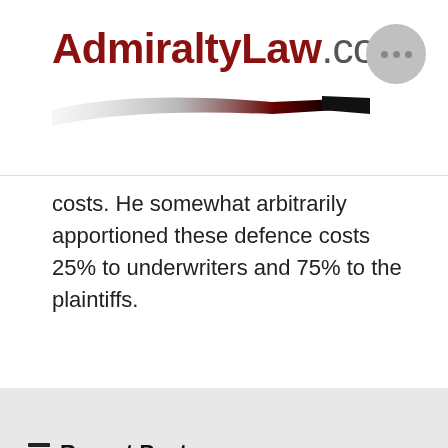AdmiraltyLaw.com
costs. He somewhat arbitrarily apportioned these defence costs 25% to underwriters and 75% to the plaintiffs.
Recent Posts
Arc-En-Ciel Produce Inc. v. BF Leticia (Ship)